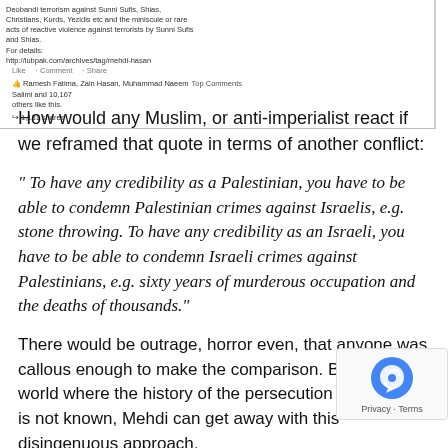[Figure (screenshot): Screenshot of a Facebook post snippet showing text about Deobandi terrorism against Sunni Sufis, Shias, Christians, Kurds, Yezidis etc. and reactive violence. Like, Comment, Share bar with Ramesh Fatima, Zain Hasan, Muhammad Naeem Salimi and 10,167 others liking. Top Comments. 1,131 shares. Link: http://lubpak.com/archives/tag/mehdi-hasan]
How would any Muslim, or anti-imperialist react if we reframed that quote in terms of another conflict:
“ To have any credibility as a Palestinian, you have to be able to condemn Palestinian crimes against Israelis, e.g. stone throwing. To have any credibility as an Israeli, you have to be able to condemn Israeli crimes against Palestinians, e.g. sixty years of murderous occupation and the deaths of thousands.”
There would be outrage, horror even, that anyone was callous enough to make the comparison. But in a world where the history of the persecution of the Shia is not known, Mehdi can get away with this disingenuous approach.